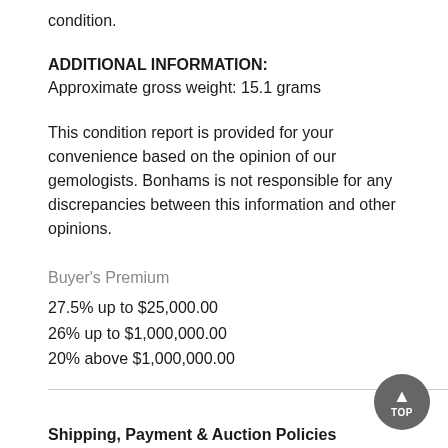condition.
ADDITIONAL INFORMATION:
Approximate gross weight: 15.1 grams
This condition report is provided for your convenience based on the opinion of our gemologists. Bonhams is not responsible for any discrepancies between this information and other opinions.
Buyer's Premium
27.5% up to $25,000.00
26% up to $1,000,000.00
20% above $1,000,000.00
Shipping, Payment & Auction Policies